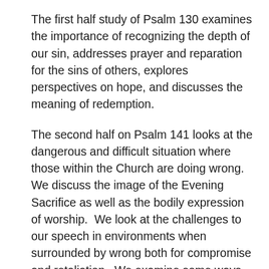The first half study of Psalm 130 examines the importance of recognizing the depth of our sin, addresses prayer and reparation for the sins of others, explores perspectives on hope, and discusses the meaning of redemption.
The second half on Psalm 141 looks at the dangerous and difficult situation where those within the Church are doing wrong.  We discuss the image of the Evening Sacrifice as well as the bodily expression of worship.  We look at the challenges to our speech in environments when surrounded by wrong both for compromise and retaliation.  We examine some ways we can unwittingly participate in the ways of the wrongdoers around us.  We discuss the dangers on both sides — the danger of falling into compromise with wrong and the danger of falling into excessive